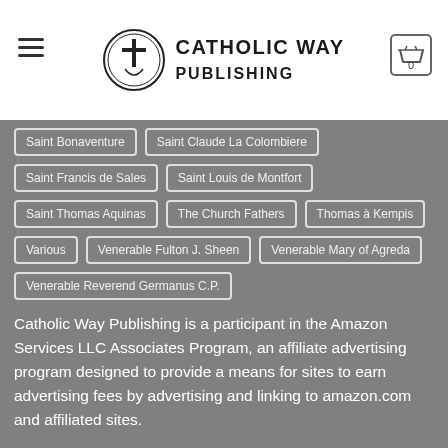[Figure (logo): Catholic Way Publishing logo with cross emblem and text]
Saint Bonaventure
Saint Claude La Colombiere
Saint Francis de Sales
Saint Louis de Montfort
Saint Thomas Aquinas
The Church Fathers
Thomas à Kempis
Various
Venerable Fulton J. Sheen
Venerable Mary of Agreda
Venerable Reverend Germanus C.P.
Catholic Way Publishing is a participant in the Amazon Services LLC Associates Program, an affiliate advertising program designed to provide a means for sites to earn advertising fees by advertising and linking to amazon.com and affiliated sites.